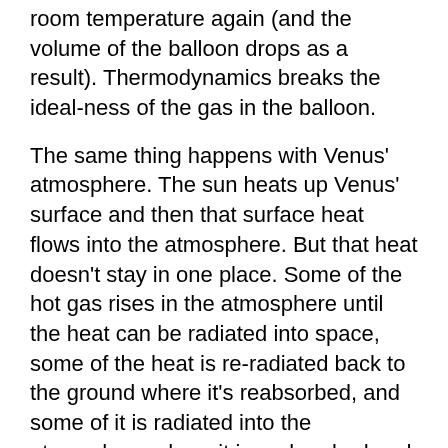room temperature again (and the volume of the balloon drops as a result). Thermodynamics breaks the ideal-ness of the gas in the balloon.
The same thing happens with Venus' atmosphere. The sun heats up Venus' surface and then that surface heat flows into the atmosphere. But that heat doesn't stay in one place. Some of the hot gas rises in the atmosphere until the heat can be radiated into space, some of the heat is re-radiated back to the ground where it's reabsorbed, and some of it is radiated into the atmosphere where it is reabsorbed and re-radiated. All of this thermal interaction makes the atmosphere of any planet non-ideal.
Furthermore, convection creates other effects like the temperature lapse rate (the average change in temperature of the atmosphere as you change altitude in the troposphere) and state changes (such as the condensation of gases in to liquid clouds) are further reasons why we can't view a planetary atmosphere as an ideal gas.